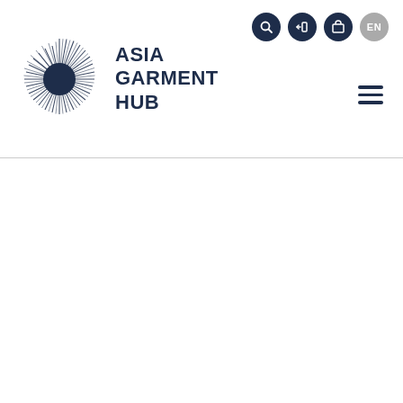[Figure (logo): Asia Garment Hub logo: starburst/radial lines circle with dark navy center, beside bold navy text reading ASIA GARMENT HUB on three lines]
[Figure (infographic): Navigation header icons: search icon (dark navy circle), sign-in icon (dark navy circle), briefcase/save icon (dark navy circle), EN language selector (gray circle), and hamburger menu (three dark navy horizontal bars)]